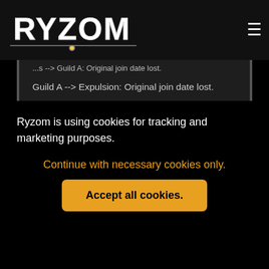RYZOM
...Guild A: Original join date lost.
Guild A --> Expulsion: Original join date lost.
Changes in the outposts system
WARNING: The figures below are still provisional and may be adjusted upwards or downwards depending on
Ryzom is using cookies for tracking and marketing purposes.
Continue with necessary cookies only.
Accept all cookies.